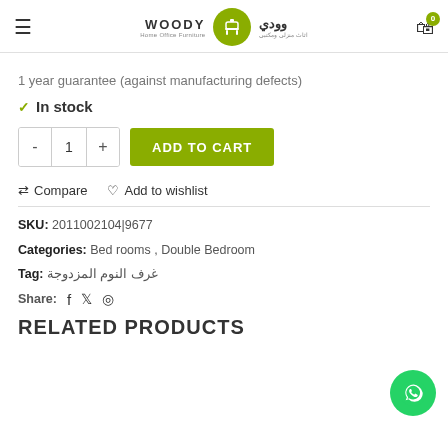WOODY Home Office Furniture / وودي اثاث منزلي ومكتبي
1 year guarantee (against manufacturing defects)
✓ In stock
- 1 + ADD TO CART
⇄ Compare  ♡ Add to wishlist
SKU: 2011002104|9677
Categories: Bed rooms, Double Bedroom
Tag: غرف النوم المزدوجة
Share: f 🐦 ©
RELATED PRODUCTS